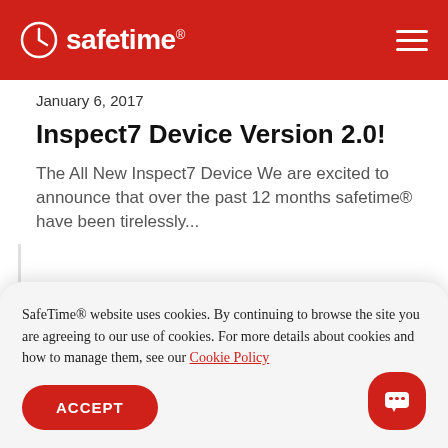safetime
January 6, 2017
Inspect7 Device Version 2.0!
The All New Inspect7 Device We are excited to announce that over the past 12 months safetime® have been tirelessly...
SafeTime® website uses cookies. By continuing to browse the site you are agreeing to our use of cookies. For more details about cookies and how to manage them, see our Cookie Policy
ACCEPT